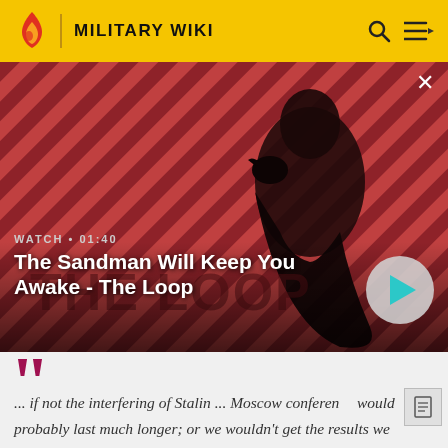MILITARY WIKI
[Figure (screenshot): Video thumbnail showing a dark figure with a raven on shoulder against a red diagonal striped background. Title overlay: 'The Sandman Will Keep You Awake - The Loop'. Duration: 01:40. Play button visible on right.]
WATCH • 01:40
The Sandman Will Keep You Awake - The Loop
... if not the interfering of Stalin ... Moscow conference would probably last much longer; or we wouldn't get the results we reached.